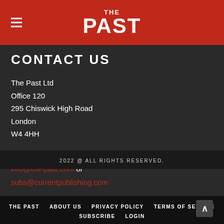THE PAST
CONTACT US
The Past Ltd
Office 120
295 Chiswick High Road
London
W4 4HH
+44 (0) 20 8819 5580
info@the-past.com or
subs@currentpublishing.com
2022 @ ALL RIGHTS RESERVED.
THE PAST   ABOUT US   PRIVACY POLICY   TERMS OF SERVICE
SUBSCRIBE   LOGIN